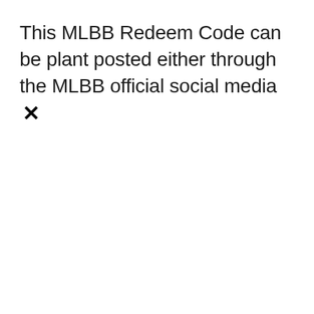This MLBB Redeem Code can be plant posted either through the MLBB official social media ✕